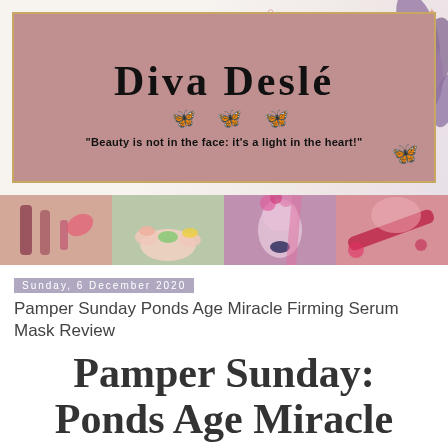[Figure (illustration): Diva Deslé blog header banner with logo text, butterfly decorations, floral/marble background, and tagline 'Beauty is not in the face: it's a light in the heart!']
[Figure (photo): Strip of four beauty photos: lipstick/accessories, nail art/manicure, woman with flower crown and blue lips, red lip product]
Sunday, 6 December 2020
Pamper Sunday Ponds Age Miracle Firming Serum Mask Review
Pamper Sunday: Ponds Age Miracle